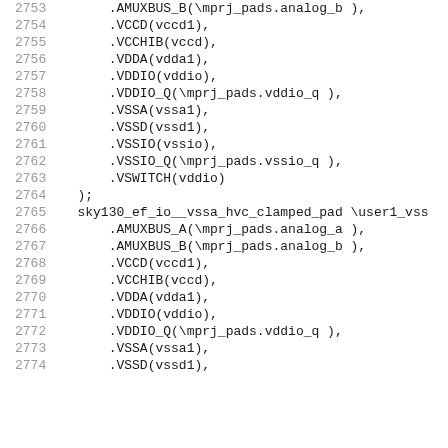2753    .AMUXBUS_B(\mprj_pads.analog_b ),
2754    .VCCD(vccd1),
2755    .VCCHIB(vccd),
2756    .VDDA(vdda1),
2757    .VDDIO(vddio),
2758    .VDDIO_Q(\mprj_pads.vddio_q ),
2759    .VSSA(vssa1),
2760    .VSSD(vssd1),
2761    .VSSIO(vssio),
2762    .VSSIO_Q(\mprj_pads.vssio_q ),
2763    .VSWITCH(vddio)
2764    );
2765    sky130_ef_io__vssa_hvc_clamped_pad \user1_vss
2766    .AMUXBUS_A(\mprj_pads.analog_a ),
2767    .AMUXBUS_B(\mprj_pads.analog_b ),
2768    .VCCD(vccd1),
2769    .VCCHIB(vccd),
2770    .VDDA(vdda1),
2771    .VDDIO(vddio),
2772    .VDDIO_Q(\mprj_pads.vddio_q ),
2773    .VSSA(vssa1),
2774    .VSSD(vssd1)